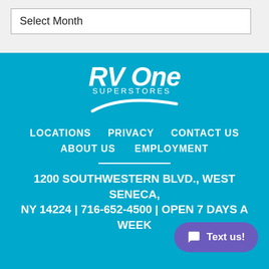Select Month
[Figure (logo): RV One Superstores logo with white italic text and swoosh curve on blue background]
LOCATIONS   PRIVACY   CONTACT US   ABOUT US   EMPLOYMENT
1200 SOUTHWESTERN BLVD., WEST SENECA, NY 14224 | 716-652-4500 | OPEN 7 DAYS A WEEK